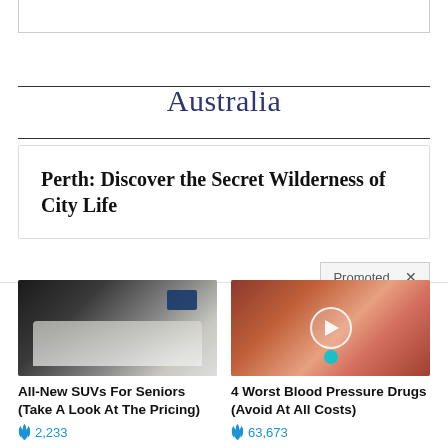Australia
Perth: Discover the Secret Wilderness of City Life
Promoted
[Figure (photo): Interior of a luxury SUV showing cream leather seats and folding tables]
All-New SUVs For Seniors (Take A Look At The Pricing)
2,233
[Figure (photo): Close-up of a mouth with tongue out, holding a blue capsule, with a video play button overlay]
4 Worst Blood Pressure Drugs (Avoid At All Costs)
63,673